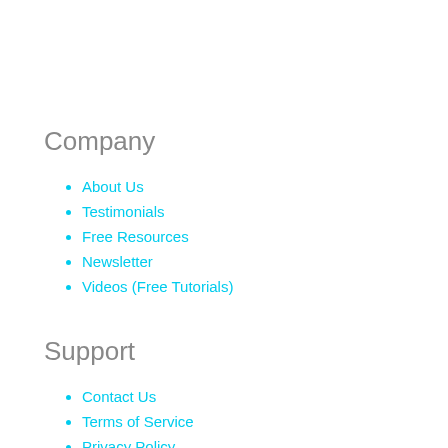Company
About Us
Testimonials
Free Resources
Newsletter
Videos (Free Tutorials)
Support
Contact Us
Terms of Service
Privacy Policy
News Archive